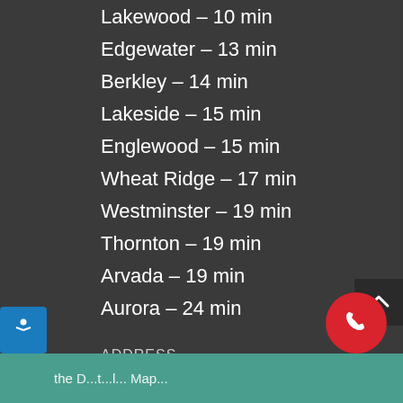Lakewood – 10 min
Edgewater – 13 min
Berkley – 14 min
Lakeside – 15 min
Englewood – 15 min
Wheat Ridge – 17 min
Westminster – 19 min
Thornton – 19 min
Arvada – 19 min
Aurora – 24 min
ADDRESS
600 Grant St Ste 208
Denver, CO 80203